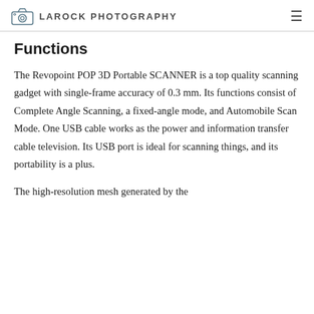LAROCK PHOTOGRAPHY
Functions
The Revopoint POP 3D Portable SCANNER is a top quality scanning gadget with single-frame accuracy of 0.3 mm. Its functions consist of Complete Angle Scanning, a fixed-angle mode, and Automobile Scan Mode. One USB cable works as the power and information transfer cable television. Its USB port is ideal for scanning things, and its portability is a plus.
The high-resolution mesh generated by the